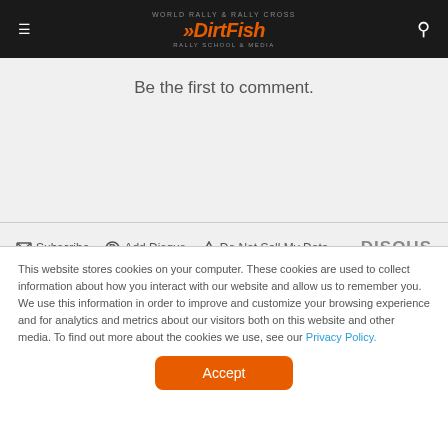DirtFish
Be the first to comment.
Subscribe  Add Disqus  Do Not Sell My Data  DISQUS
This website stores cookies on your computer. These cookies are used to collect information about how you interact with our website and allow us to remember you. We use this information in order to improve and customize your browsing experience and for analytics and metrics about our visitors both on this website and other media. To find out more about the cookies we use, see our Privacy Policy.
Accept